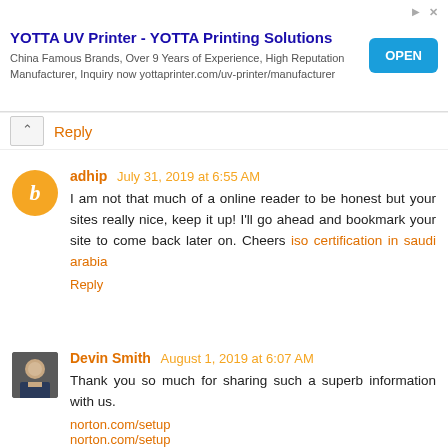[Figure (other): Advertisement banner for YOTTA UV Printer - YOTTA Printing Solutions. Text: China Famous Brands, Over 9 Years of Experience, High Reputation Manufacturer, Inquiry now yottaprinter.com/uv-printer/manufacturer. Blue OPEN button on the right.]
Reply
adhip July 31, 2019 at 6:55 AM
I am not that much of a online reader to be honest but your sites really nice, keep it up! I'll go ahead and bookmark your site to come back later on. Cheers iso certification in saudi arabia
Reply
Devin Smith August 1, 2019 at 6:07 AM
Thank you so much for sharing such a superb information with us.
norton.com/setup
norton.com/setup